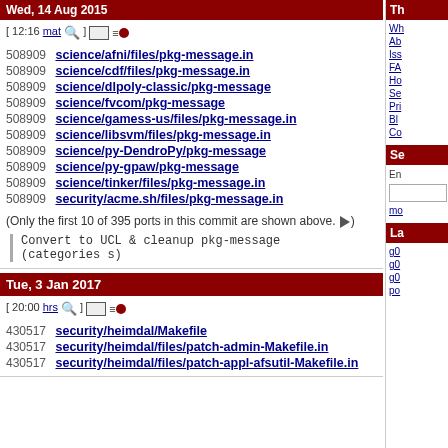Wed, 14 Aug 2015
[ 12:16 mat ] (icons)
508909 science/afni/files/pkg-message.in
508909 science/cdf/files/pkg-message.in
508909 science/dlpoly-classic/pkg-message
508909 science/fvcom/pkg-message
508909 science/gamess-us/files/pkg-message.in
508909 science/libsvm/files/pkg-message.in
508909 science/py-DendroPy/pkg-message
508909 science/py-gpaw/pkg-message
508909 science/tinker/files/pkg-message.in
508909 security/acme.sh/files/pkg-message.in
(Only the first 10 of 395 ports in this commit are shown above. ►)
Convert to UCL & cleanup pkg-message
(categories s)
Tue, 3 Jan 2017
[ 20:00 hrs ] (icons)
430517 security/heimdal/Makefile
430517 security/heimdal/files/patch-admin-Makefile.in
430517 security/heimdal/files/patch-appl-afsutil-Makefile.in